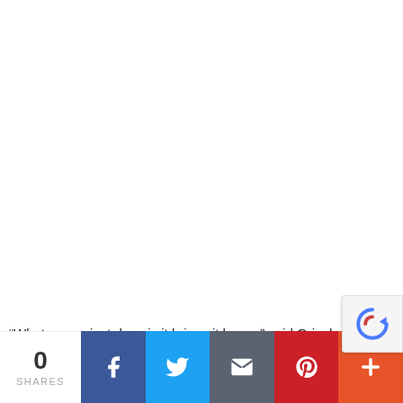“What my project does is it brings it home,” said Grieshop. “The
[Figure (infographic): Social share bar with share count of 0, Facebook button (dark blue), Twitter button (light blue), Email button (gray), Pinterest button (red), and More button (orange-red). A reCAPTCHA badge appears in the top-right area of the bottom section.]